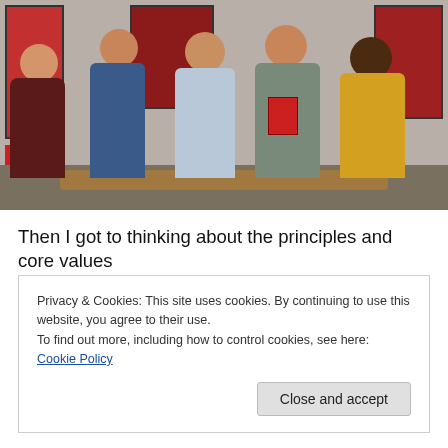[Figure (photo): Group photo of six people posing together indoors. They are sitting and standing in what appears to be a school or community room with artwork on the walls. One person in the center is holding what appears to be a book or DVD. People are wearing various colored clothing including dark maroon, blue, light blue, gray, and yellow.]
Then I got to thinking about the principles and core values
Privacy & Cookies: This site uses cookies. By continuing to use this website, you agree to their use.
To find out more, including how to control cookies, see here: Cookie Policy
Close and accept